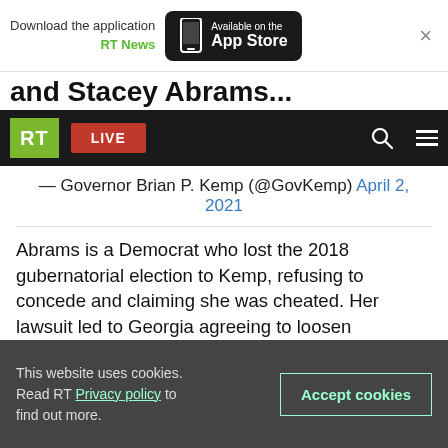[Figure (screenshot): App Store download banner with RT News branding, phone icon, and close button]
[Figure (screenshot): RT website navigation bar with green RT logo, red LIVE button, search icon, and hamburger menu]
— Governor Brian P. Kemp (@GovKemp) April 2, 2021
Abrams is a Democrat who lost the 2018 gubernatorial election to Kemp, refusing to concede and claiming she was cheated. Her lawsuit led to Georgia agreeing to loosen verification rules in the 2020 election, which resulted in Biden winning the state thanks to mail-in votes and Democrats capturing both seats in the
This website uses cookies. Read RT Privacy policy to find out more.